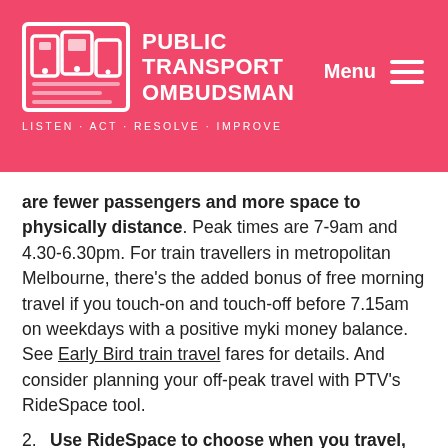PUBLIC TRANSPORT OMBUDSMAN — LISTEN · ACT · RESOLVE · IMPROVE — Menu
are fewer passengers and more space to physically distance. Peak times are 7-9am and 4.30-6.30pm. For train travellers in metropolitan Melbourne, there's the added bonus of free morning travel if you touch-on and touch-off before 7.15am on weekdays with a positive myki money balance. See Early Bird train travel fares for details. And consider planning your off-peak travel with PTV's RideSpace tool.
2. Use RideSpace to choose when you travel, depending on how crowded your train service (and some bus routes) will be. PTV's RideSpace is an online tool that's free to use. It tells you how busy metropolitan Melbourne train services, stations and